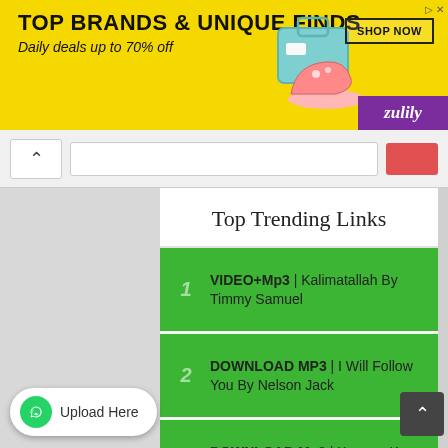[Figure (screenshot): Advertisement banner for Zulily: TOP BRANDS & UNIQUE FINDS, Daily deals up to 70% off, SHOP NOW button, purple Zulily logo, shoes and bag imagery]
Top Trending Links
1 VIDEO+Mp3 | Kalimatallah By Timmy Samuel
2 DOWNLOAD MP3 | I Will Follow You By Nelson Jack
3 DOWNLOAD Mp3 | Kaunan Ka By Pastor Chingtok Ishaku
4 DOWNLOAD MP3 | Cece Ni By ...lah Ft. Solomon Lange